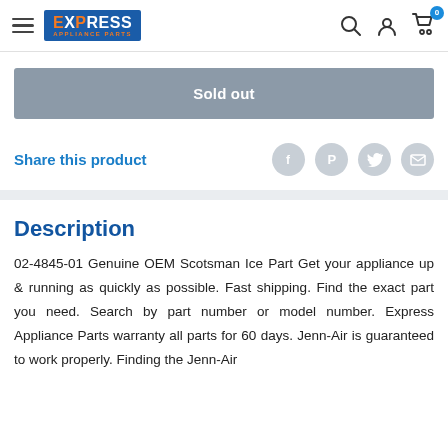Express Appliance Parts — navigation bar with hamburger menu, search, account, and cart icons
Sold out
Share this product
Description
02-4845-01 Genuine OEM Scotsman Ice Part Get your appliance up & running as quickly as possible. Fast shipping. Find the exact part you need. Search by part number or model number. Express Appliance Parts warranty all parts for 60 days. Jenn-Air is guaranteed to work properly. Finding the Jenn-Air